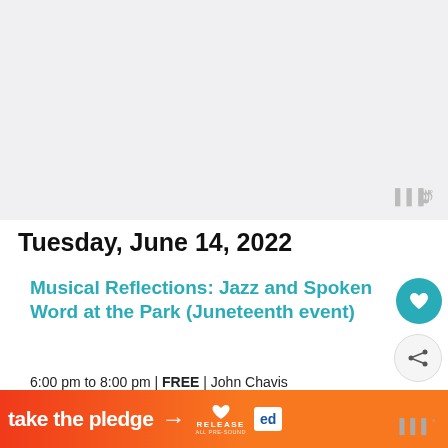[Figure (other): Top gray advertisement/banner placeholder area]
Tuesday, June 14, 2022
Musical Reflections: Jazz and Spoken Word at the Park (Juneteenth event)
6:00 pm to 8:00 pm | FREE | John Chavis Memorial Park (Raleigh)
WHAT'S NEXT → NC Juneteenth BBQ Cook-...
Wednesday, June 15, 2022
[Figure (other): Bottom orange/pink banner ad with 'take the pledge' text, arrow, RELEASE logo, and ed logo]